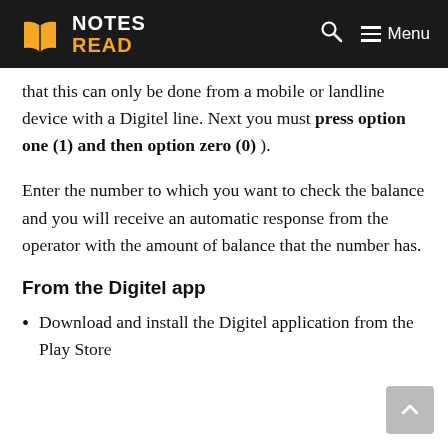NOTES READ
that this can only be done from a mobile or landline device with a Digitel line. Next you must press option one (1) and then option zero (0).
Enter the number to which you want to check the balance and you will receive an automatic response from the operator with the amount of balance that the number has.
From the Digitel app
Download and install the Digitel application from the Play Store